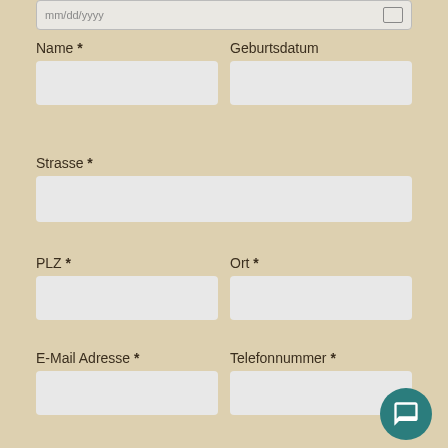mm/dd/yyyy
Name *
Geburtsdatum
Strasse *
PLZ *
Ort *
E-Mail Adresse *
Telefonnummer *
Zusatzleistungen